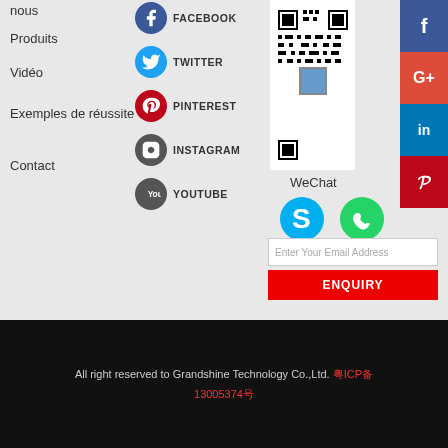nous
Produits
Vidéo
Exemples de réussite
Contact
FACEBOOK
TWITTER
PINTEREST
INSTAGRAM
YOUTUBE
[Figure (other): QR code for WeChat]
[Figure (other): QR code for LINE]
WeChat
[Figure (other): Skype icon]
[Figure (other): WhatsApp icon]
Enter Your Email Address
ENQUIRY
All right reserved to Grandshine Technology Co.,Ltd. 粤ICP备13005374号